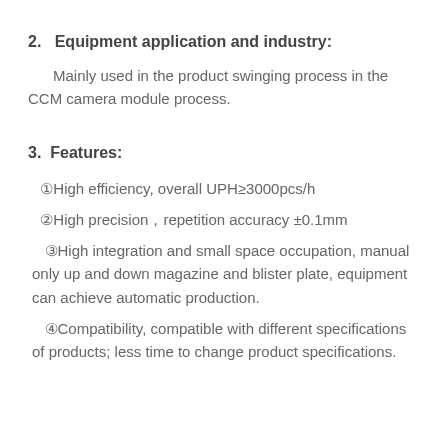2.   Equipment application and industry:
Mainly used in the product swinging process in the CCM camera module process.
3.  Features:
①High efficiency, overall UPH≥3000pcs/h
②High precision，repetition accuracy ±0.1mm
③High integration and small space occupation, manual only up and down magazine and blister plate, equipment can achieve automatic production.
④Compatibility, compatible with different specifications of products; less time to change product specifications.